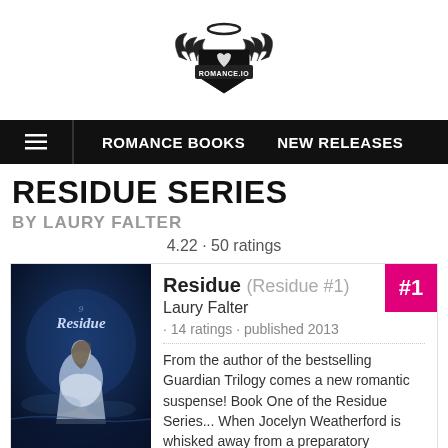[Figure (logo): Romance.io logo — shield with wings and halo, black and white]
ROMANCE BOOKS   NEW RELEASES
RESIDUE SERIES
BY LAURY FALTER
4.22 · 50 ratings
[Figure (illustration): Book cover for Residue — dark blue cover with young woman in white dress and cursive title text]
Residue (Residue #1)
Laury Falter
· 14 ratings · published 2013
From the author of the bestselling Guardian Trilogy comes a new romantic suspense! Book One of the Residue Series... When Jocelyn Weatherford is whisked away from a preparatory